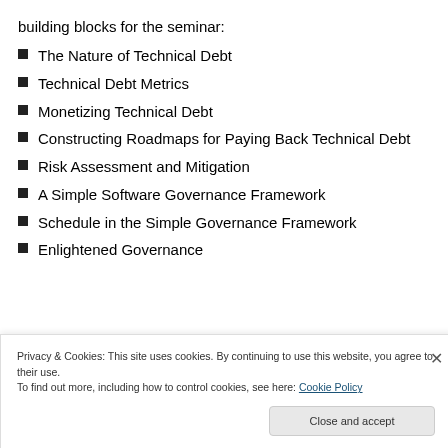building blocks for the seminar:
The Nature of Technical Debt
Technical Debt Metrics
Monetizing Technical Debt
Constructing Roadmaps for Paying Back Technical Debt
Risk Assessment and Mitigation
A Simple Software Governance Framework
Schedule in the Simple Governance Framework
Enlightened Governance
Privacy & Cookies: This site uses cookies. By continuing to use this website, you agree to their use. To find out more, including how to control cookies, see here: Cookie Policy